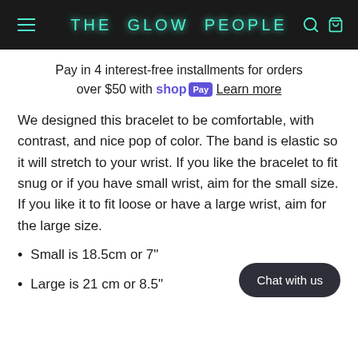THE GLOW PEOPLE
Pay in 4 interest-free installments for orders over $50 with shop Pay Learn more
We designed this bracelet to be comfortable, with contrast, and nice pop of color. The band is elastic so it will stretch to your wrist. If you like the bracelet to fit snug or if you have small wrist, aim for the small size. If you like it to fit loose or have a large wrist, aim for the large size.
Small is 18.5cm or 7"
Large is 21 cm or 8.5"